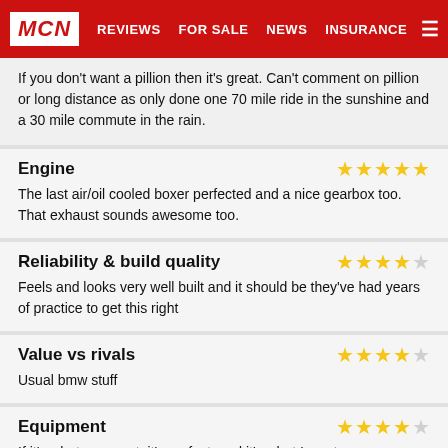MCN | REVIEWS | FOR SALE | NEWS | INSURANCE
If you don't want a pillion then it's great. Can't comment on pillion or long distance as only done one 70 mile ride in the sunshine and a 30 mile commute in the rain.
Engine
The last air/oil cooled boxer perfected and a nice gearbox too. That exhaust sounds awesome too.
Reliability & build quality
Feels and looks very well built and it should be they've had years of practice to get this right
Value vs rivals
Usual bmw stuff
Equipment
If it's what you want, it's perfect, and it's what I want. Simplicity pure